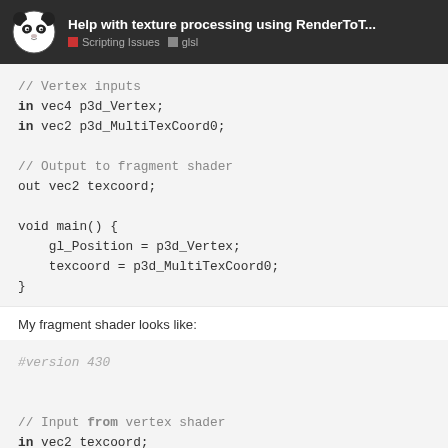Help with texture processing using RenderToT... | Scripting Issues | glsl
// Vertex inputs
in vec4 p3d_Vertex;
in vec2 p3d_MultiTexCoord0;

// Output to fragment shader
out vec2 texcoord;

void main() {
    gl_Position = p3d_Vertex;
    texcoord = p3d_MultiTexCoord0;
}
My fragment shader looks like:
#version 430

// Input from vertex shader
in vec2 texcoord;
1 / 9